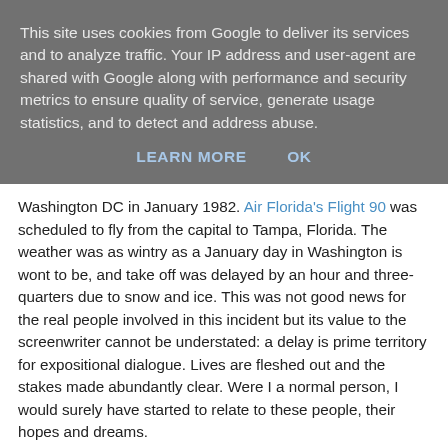This site uses cookies from Google to deliver its services and to analyze traffic. Your IP address and user-agent are shared with Google along with performance and security metrics to ensure quality of service, generate usage statistics, and to detect and address abuse.
LEARN MORE    OK
Washington DC in January 1982. Air Florida's Flight 90 was scheduled to fly from the capital to Tampa, Florida. The weather was as wintry as a January day in Washington is wont to be, and take off was delayed by an hour and three-quarters due to snow and ice. This was not good news for the real people involved in this incident but its value to the screenwriter cannot be understated: a delay is prime territory for expositional dialogue. Lives are fleshed out and the stakes made abundantly clear. Were I a normal person, I would surely have started to relate to these people, their hopes and dreams.
Unfortunately for everyone involved, the pilots of Flight 90 were inexperienced at dealing with such arctic conditions